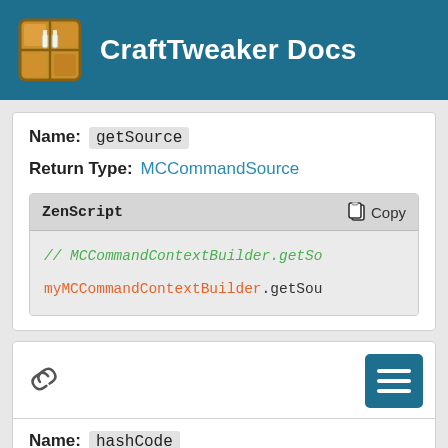CraftTweaker Docs
Name: getSource
Return Type: MCCommandSource
| ZenScript | Copy |
| --- | --- |
| // MCCommandContextBuilder.getSo... | myMCCommandContextBuilder.getSou |
Name: hashCode